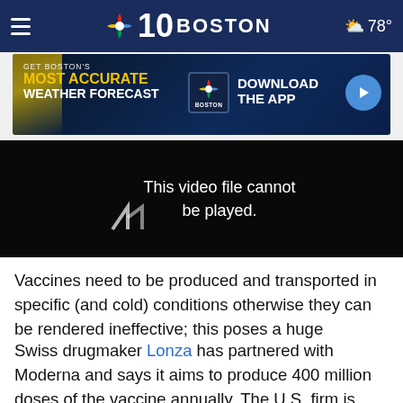NBC 10 Boston — 78°
[Figure (screenshot): NBC 10 Boston ad banner: GET BOSTON'S MOST ACCURATE WEATHER FORECAST — Download the App]
[Figure (screenshot): Black video player area showing error message: This video file cannot be played]
Vaccines need to be produced and transported in specific (and cold) conditions otherwise they can be rendered ineffective; this poses a huge challenge for global drugmakers when it comes to vaccine distribution.
Swiss drugmaker Lonza has partnered with Moderna and says it aims to produce 400 million doses of the vaccine annually. The U.S. firm is aiming for 500 million to 1 billion doses in total for 2021. Anyone receiving the vaccine will require two doses, as with Pfizer's shot, showing how long it